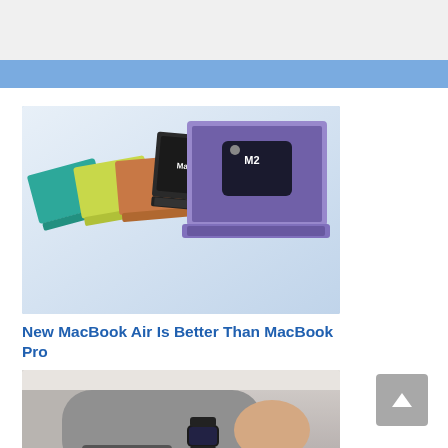[Figure (photo): Multiple MacBook Air laptops in different colors (teal, yellow, orange, dark gray/black, purple) displayed open showing the M2 chip logo on screen, arranged fan-like from left to right.]
New MacBook Air Is Better Than MacBook Pro
[Figure (photo): Person wearing an Apple Watch paying at a payment terminal, wearing a gray long-sleeve shirt, with a yellow bag visible in background.]